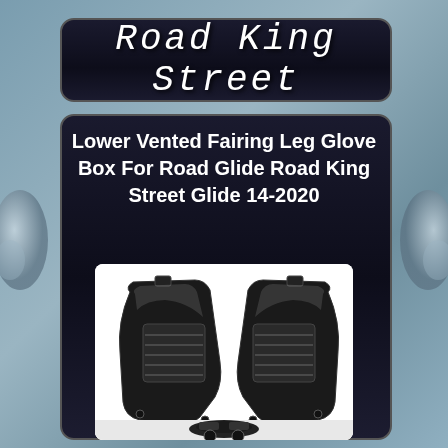Road King Street
Lower Vented Fairing Leg Glove Box For Road Glide Road King Street Glide 14-2020
[Figure (photo): Two black lower vented fairing leg glove boxes side by side on a white background, showing mounting brackets and vent grilles. A second image below shows the product installed on a motorcycle.]